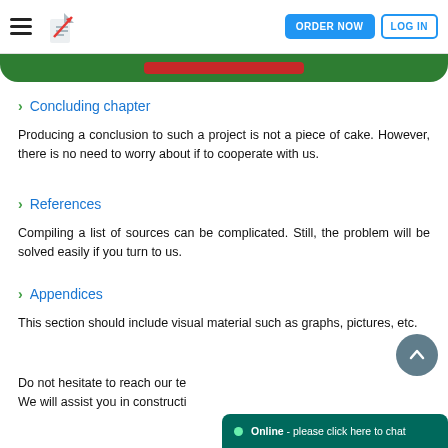ORDER NOW  LOG IN
Concluding chapter
Producing a conclusion to such a project is not a piece of cake. However, there is no need to worry about if to cooperate with us.
References
Compiling a list of sources can be complicated. Still, the problem will be solved easily if you turn to us.
Appendices
This section should include visual material such as graphs, pictures, etc.
Do not hesitate to reach our te... We will assist you in constructi...